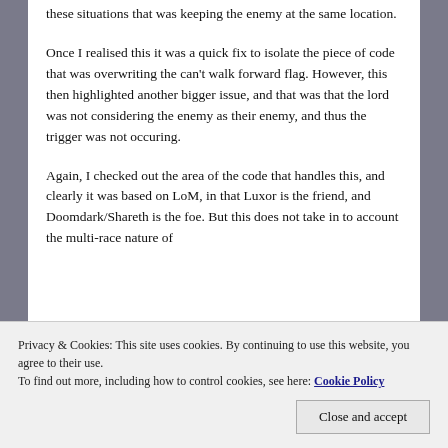these situations that was keeping the enemy at the same location.
Once I realised this it was a quick fix to isolate the piece of code that was overwriting the can't walk forward flag. However, this then highlighted another bigger issue, and that was that the lord was not considering the enemy as their enemy, and thus the trigger was not occuring.
Again, I checked out the area of the code that handles this, and clearly it was based on LoM, in that Luxor is the friend, and Doomdark/Shareth is the foe. But this does not take in to account the multi-race nature of
Privacy & Cookies: This site uses cookies. By continuing to use this website, you agree to their use.
To find out more, including how to control cookies, see here: Cookie Policy